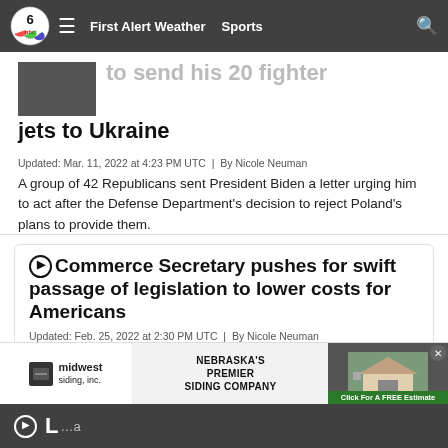NBC 6 | First Alert Weather | Sports
… to send his 20 fighter jets to Ukraine
Updated: Mar. 11, 2022 at 4:23 PM UTC  |  By Nicole Neuman
A group of 42 Republicans sent President Biden a letter urging him to act after the Defense Department's decision to reject Poland's plans to provide them.
▶ Commerce Secretary pushes for swift passage of legislation to lower costs for Americans
Updated: Feb. 25, 2022 at 2:30 PM UTC  |  By Nicole Neuman
U.S. Secretary of Commerce Gina Raimondo said the pieces of legislation focus on boosting our nation's productivity on a global scale.
[Figure (infographic): Advertisement banner for Midwest Siding, Inc. – Nebraska's Premier Siding Company with Click For A FREE Estimate CTA]
▶ L…